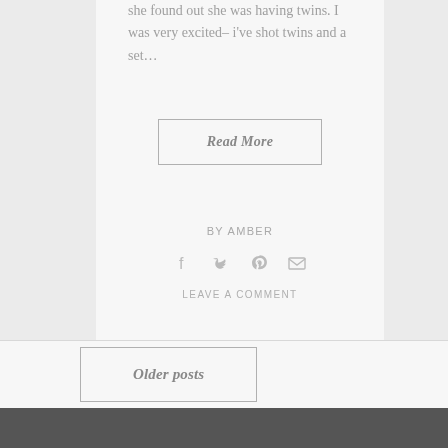she found out she was having twins. I was very excited– i've shot twins and a set…
Read More
BY AMBER
[Figure (infographic): Social sharing icons: Facebook, Twitter, Pinterest, Email]
LEAVE A COMMENT
Older posts